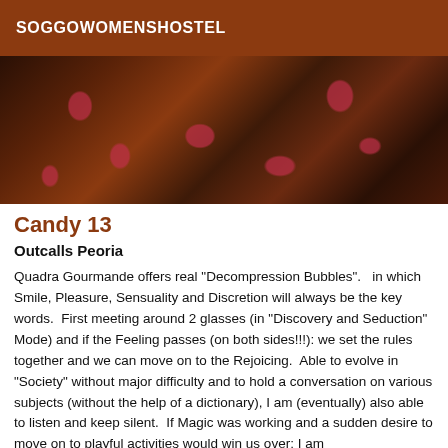SOGGOWOMENSHOSTEL
[Figure (photo): Close-up photo of dark fabric with red/pink floral embroidery patterns and fishnet texture]
Candy 13
Outcalls Peoria
Quadra Gourmande offers real "Decompression Bubbles".   in which Smile, Pleasure, Sensuality and Discretion will always be the key words.  First meeting around 2 glasses (in "Discovery and Seduction" Mode) and if the Feeling passes (on both sides!!!): we set the rules together and we can move on to the Rejoicing.  Able to evolve in "Society" without major difficulty and to hold a conversation on various subjects (without the help of a dictionary), I am (eventually) also able to listen and keep silent.  If Magic was working and a sudden desire to move on to playful activities would win us over: I am